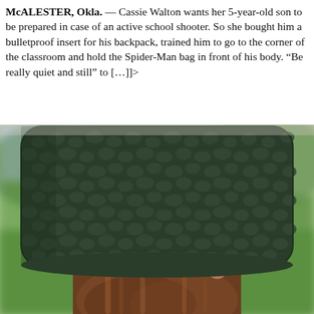McALESTER, Okla. — Cassie Walton wants her 5-year-old son to be prepared in case of an active school shooter. So she bought him a bulletproof insert for his backpack, trained him to go to the corner of the classroom and hold the Spider-Man bag in front of his body. “Be really quiet and still” to […]]>
[Figure (photo): Close-up photo of a child's head seen from behind, with long brown hair, holding or wearing a dark green textured (pebbled/reptile-skin patterned) bulletproof backpack insert or panel covering the back of their head. Blurred green outdoor background (grass, trees) visible.]